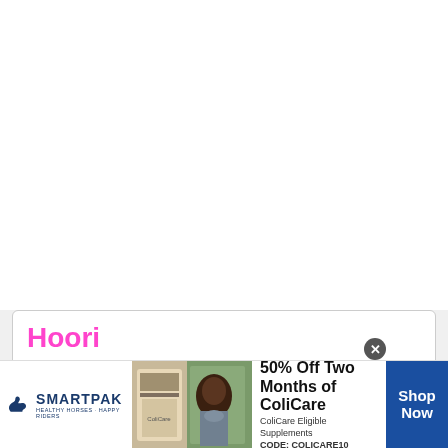Hoori
Hoori (also spelled in English dictionaries as Houri) is an indirect Quranic name for ...
Read more
[Figure (infographic): SmartPak advertisement banner: SmartPak logo on left, product and horse with rider images in center, text '50% Off Two Months of ColiCare, ColiCare Eligible Supplements, CODE: COLICARE10', and blue 'Shop Now' button on right.]